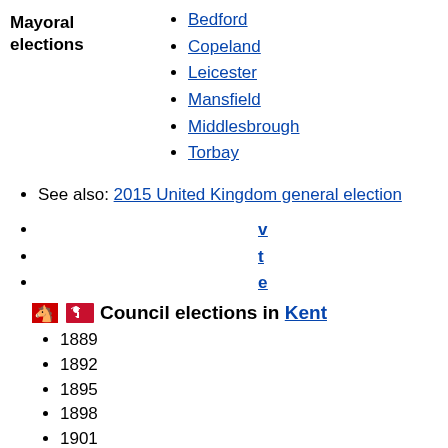Mayoral elections: Bedford, Copeland, Leicester, Mansfield, Middlesbrough, Torbay
See also: 2015 United Kingdom general election
v
t
e
Council elections in Kent
1889
1892
1895
1898
1901
1904
1907
1910
1913
1919